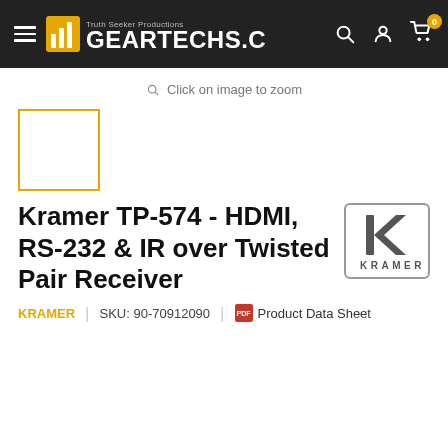GEARTECHS.COM — Truth Seeker Productions
Click on image to zoom
[Figure (photo): Product thumbnail placeholder — empty white box with gold/yellow border]
Kramer TP-574 - HDMI, RS-232 & IR over Twisted Pair Receiver
[Figure (logo): Kramer logo — stylized K letter in gray with KRAMER text below, in a rounded rectangle border]
KRAMER  |  SKU: 90-70912090  |  Product Data Sheet